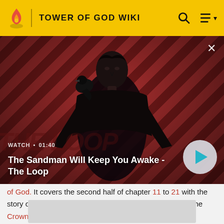TOWER OF GOD WIKI
[Figure (screenshot): Video banner with diagonal red/dark stripe background, silhouette of a dark-cloaked figure with a bird on shoulder. Shows 'WATCH • 01:40' label and title 'The Sandman Will Keep You Awake - The Loop' with a play button.]
of God. It covers the second half of chapter 11 to 21 with the story of this book ending after Khun grabs the Crown in the Crown Game.